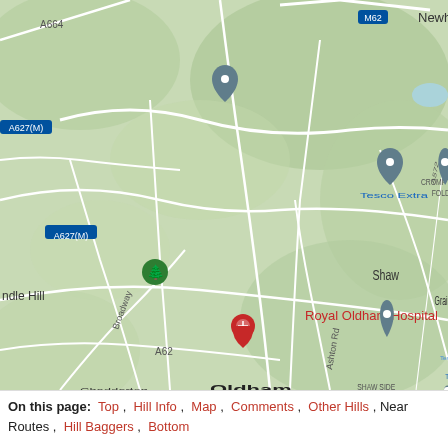[Figure (map): Google Maps screenshot showing the area around Oldham, Greater Manchester, UK. Shows Shaw, Shaw Side (with a red marker), Royton, Moorside, Chadderton, Oldham (bold), Lees, Grotton, Royal Oldham Hospital (with H marker), Tesco Extra (with shopping cart marker), Tesco Superstore, Newhey, Denshaw, Crompton Fold, Shaw, Grains Bar, Delph, Brook Bottom, and road labels A664, M62, A627(M), A572, A62, Ashton Rd. Also shows a green tree marker near Candle Hill.]
On this page: Top , Hill Info , Map , Comments , Other Hills , Near Routes , Hill Baggers , Bottom